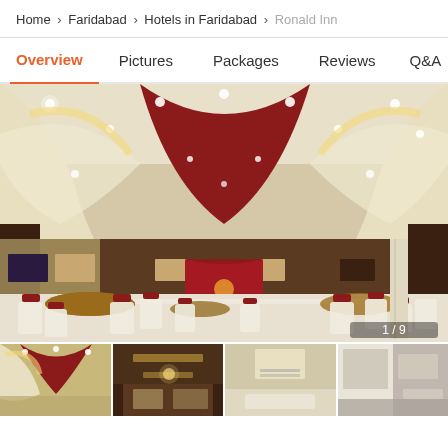Home > Faridabad > Hotels in Faridabad > Ronald Inn
Overview | Pictures | Packages | Reviews | Q&A
[Figure (photo): Interior of Ronald Inn banquet hall showing elegant ceiling with curved red and cream design, recessed lighting, red and white chair covers arranged around circular tables, marble floor, and a decorated stage area in the background. Image counter shows 1/9.]
[Figure (photo): Thumbnail 1: Close-up of Ronald Inn ceiling design with cream curves]
[Figure (photo): Thumbnail 2: Interior warm-lit corridor or room of Ronald Inn]
[Figure (photo): Thumbnail 3: Another interior view showing ceiling and seating]
[Figure (photo): Thumbnail 4: Partial view of hotel room or facility]